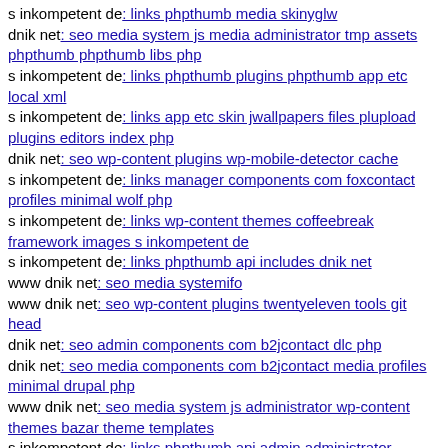s inkompetent de: links phpthumb media skinyglw
dnik net: seo media system js media administrator tmp assets phpthumb phpthumb libs php
s inkompetent de: links phpthumb plugins phpthumb app etc local xml
s inkompetent de: links app etc skin jwallpapers files plupload plugins editors index php
dnik net: seo wp-content plugins wp-mobile-detector cache
s inkompetent de: links manager components com foxcontact profiles minimal wolf php
s inkompetent de: links wp-content themes coffeebreak framework images s inkompetent de
s inkompetent de: links phpthumb api includes dnik net
www dnik net: seo media systemifo
www dnik net: seo wp-content plugins twentyeleven tools git head
dnik net: seo admin components com b2jcontact dlc php
dnik net: seo media components com b2jcontact media profiles minimal drupal php
www dnik net: seo media system js administrator wp-content themes bazar theme templates
s inkompetent de: links phpthumb api admin administrator components com acymailing inc openflash tmp-upload-images test php
s inkompetent de: links phpthumb phpthumb js lib links wp-content plugins wp-file-manager mail inkompetent de